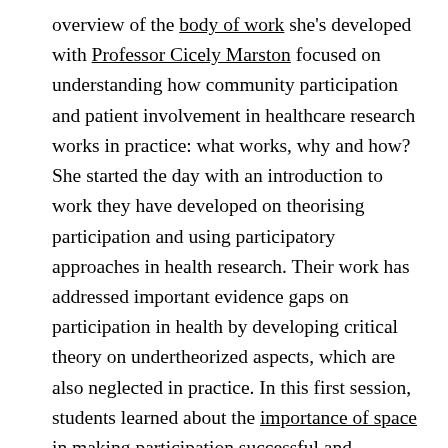overview of the body of work she's developed with Professor Cicely Marston focused on understanding how community participation and patient involvement in healthcare research works in practice: what works, why and how? She started the day with an introduction to work they have developed on theorising participation and using participatory approaches in health research. Their work has addressed important evidence gaps on participation in health by developing critical theory on undertheorized aspects, which are also neglected in practice. In this first session, students learned about the importance of space in making participation successful and inclusive, and about the role of temporal, social and material aspects of participatory space in influencing participants' ability to negotiate their rights for quality health and to mobilise for better health.
In this session, students also learned about how social